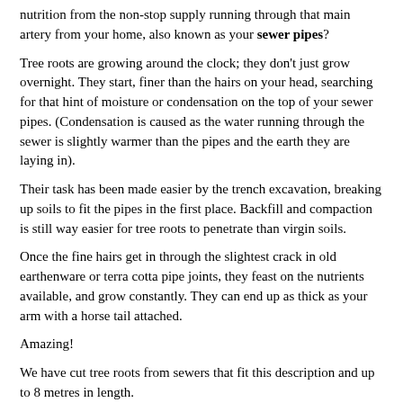nutrition from the non-stop supply running through that main artery from your home, also known as your sewer pipes?
Tree roots are growing around the clock; they don't just grow overnight. They start, finer than the hairs on your head, searching for that hint of moisture or condensation on the top of your sewer pipes. (Condensation is caused as the water running through the sewer is slightly warmer than the pipes and the earth they are laying in).
Their task has been made easier by the trench excavation, breaking up soils to fit the pipes in the first place. Backfill and compaction is still way easier for tree roots to penetrate than virgin soils.
Once the fine hairs get in through the slightest crack in old earthenware or terra cotta pipe joints, they feast on the nutrients available, and grow constantly. They can end up as thick as your arm with a horse tail attached.
Amazing!
We have cut tree roots from sewers that fit this description and up to 8 metres in length.
As the roots grow in length they grow in diameter and can actually crack the earthenware pipes as they grow.